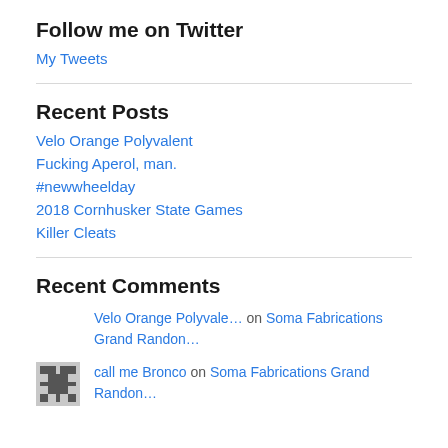Follow me on Twitter
My Tweets
Recent Posts
Velo Orange Polyvalent
Fucking Aperol, man.
#newwheelday
2018 Cornhusker State Games
Killer Cleats
Recent Comments
Velo Orange Polyvale… on Soma Fabrications Grand Randon…
call me Bronco on Soma Fabrications Grand Randon…